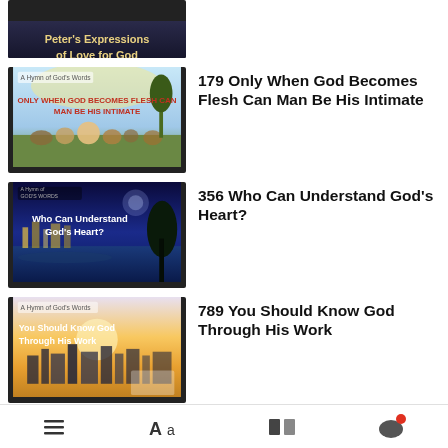[Figure (screenshot): Thumbnail for Peter's Expressions of Love for God - dark background with golden text]
[Figure (screenshot): Thumbnail: Only When God Becomes Flesh Can Man Be His Intimate - religious scene with figures sitting outdoors]
179 Only When God Becomes Flesh Can Man Be His Intimate
[Figure (screenshot): Thumbnail: Who Can Understand God's Heart? - blue night cityscape with lake]
356 Who Can Understand God's Heart?
[Figure (screenshot): Thumbnail: You Should Know God Through His Work - city skyline at sunrise]
789 You Should Know God Through His Work